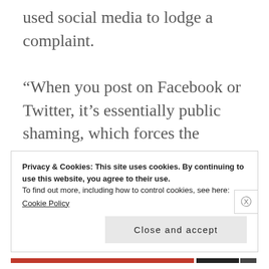used social media to lodge a complaint.
“When you post on Facebook or Twitter, it’s essentially public shaming, which forces the company to reply,” says online consumer advocate Kim Komando. Even so, fewer than 15% of messages actually get a response. Here’s how to make sure yours is one of them.
Privacy & Cookies: This site uses cookies. By continuing to use this website, you agree to their use.
To find out more, including how to control cookies, see here:
Cookie Policy
Close and accept